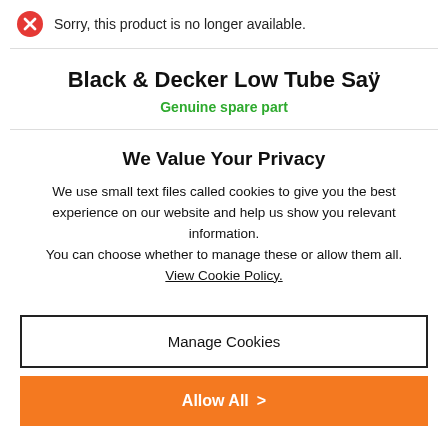Sorry, this product is no longer available.
Black & Decker Low Tube Saÿ
Genuine spare part
We Value Your Privacy
We use small text files called cookies to give you the best experience on our website and help us show you relevant information. You can choose whether to manage these or allow them all. View Cookie Policy.
Manage Cookies
Allow All